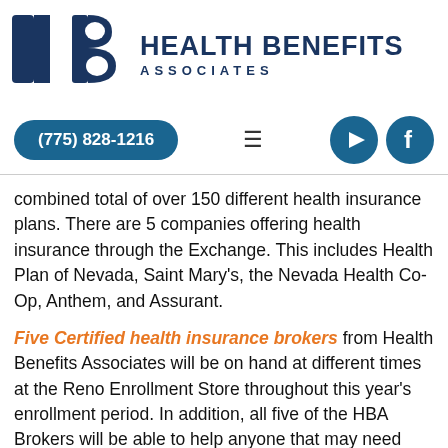[Figure (logo): Health Benefits Associates logo with H+B icon and company name]
[Figure (infographic): Navigation bar with phone number button (775) 828-1216, hamburger menu icon, YouTube and Facebook social icons]
combined total of over 150 different health insurance plans. There are 5 companies offering health insurance through the Exchange. This includes Health Plan of Nevada, Saint Mary's, the Nevada Health Co-Op, Anthem, and Assurant.
Five Certified health insurance brokers from Health Benefits Associates will be on hand at different times at the Reno Enrollment Store throughout this year's enrollment period. In addition, all five of the HBA Brokers will be able to help anyone that may need individual